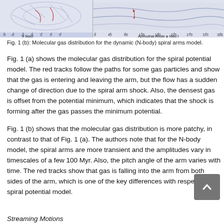[Figure (photo): Two panels showing molecular gas distribution images: left panel with X [kpc] axis from -9 to 9, right panel with Azimuthal Angle φ [deg.] axis from 0 to 360, for spiral arm models.]
Fig. 1 (b): Molecular gas distribution for the dynamic (N-body) spiral arms model.
Fig. 1 (a) shows the molecular gas distribution for the spiral potential model. The red tracks follow the paths for some gas particles and show that the gas is entering and leaving the arm, but the flow has a sudden change of direction due to the spiral arm shock. Also, the densest gas is offset from the potential minimum, which indicates that the shock is forming after the gas passes the minimum potential.
Fig. 1 (b) shows that the molecular gas distribution is more patchy, in contrast to that of Fig. 1 (a). The authors note that for the N-body model, the spiral arms are more transient and the amplitudes vary in timescales of a few 100 Myr. Also, the pitch angle of the arm varies with time. The red tracks show that gas is falling into the arm from both sides of the arm, which is one of the key differences with respect to the spiral potential model.
Streaming Motions